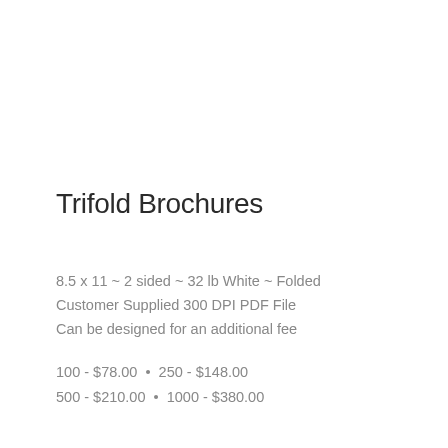Trifold Brochures
8.5 x 11 ~ 2 sided ~ 32 lb White ~ Folded
Customer Supplied 300 DPI PDF File
Can be designed for an additional fee
100 - $78.00  •  250 - $148.00
500 - $210.00  •  1000 - $380.00